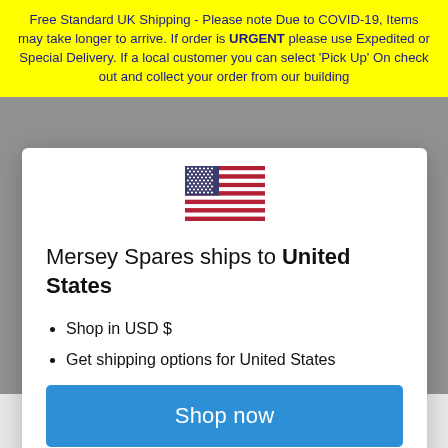Free Standard UK Shipping - Please note Due to COVID-19, Items may take longer to arrive. If order is URGENT please use Expedited or Special Delivery. If a local customer you can select 'Pick Up' On check out and collect your order from our building
[Figure (illustration): US flag emoji]
Mersey Spares ships to United States
Shop in USD $
Get shipping options for United States
Shop now
Change shipping country
5.0 ★★★★★ 29 Reviews
(91670150002), TDS583T (91670150003), TDS585E (91670550300), TDS585E